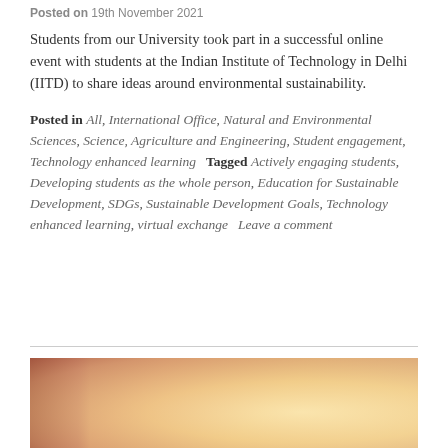Posted on 19th November 2021
Students from our University took part in a successful online event with students at the Indian Institute of Technology in Delhi (IITD) to share ideas around environmental sustainability.
Posted in All, International Office, Natural and Environmental Sciences, Science, Agriculture and Engineering, Student engagement, Technology enhanced learning   Tagged Actively engaging students, Developing students as the whole person, Education for Sustainable Development, SDGs, Sustainable Development Goals, Technology enhanced learning, virtual exchange   Leave a comment
[Figure (photo): A warm-toned photo of a person outdoors, with a blurred bright background featuring warm yellow and orange light tones.]